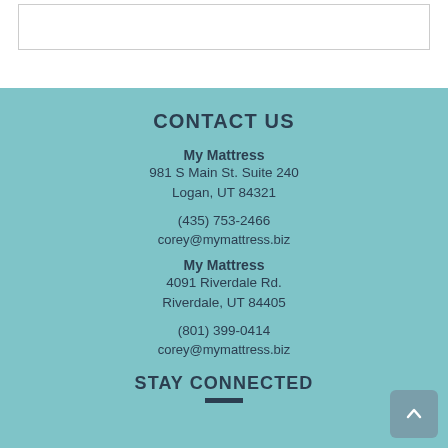CONTACT US
My Mattress
981 S Main St. Suite 240
Logan, UT 84321
(435) 753-2466
corey@mymattress.biz
My Mattress
4091 Riverdale Rd.
Riverdale, UT 84405
(801) 399-0414
corey@mymattress.biz
STAY CONNECTED